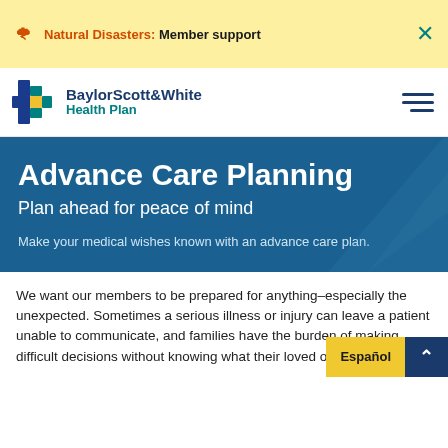Natural Disasters: Member support
[Figure (logo): BaylorScott&White Health Plan logo with blue and gold cross icon]
Advance Care Planning
Plan ahead for peace of mind
Make your medical wishes known with an advance care plan.
We want our members to be prepared for anything–especially the unexpected. Sometimes a serious illness or injury can leave a patient unable to communicate, and families have the burden of making difficult decisions without knowing what their loved one really